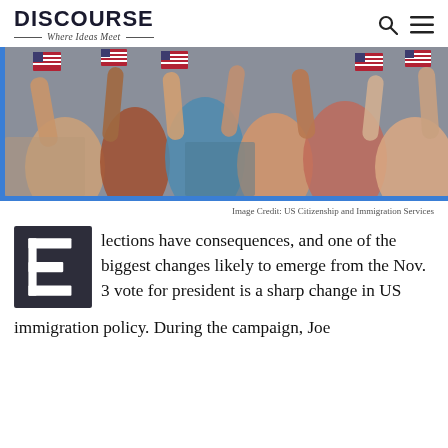DISCOURSE — Where Ideas Meet
[Figure (photo): People holding small American flags, likely at a citizenship or naturalization ceremony, with blue border on left and bottom sides.]
Image Credit: US Citizenship and Immigration Services
Elections have consequences, and one of the biggest changes likely to emerge from the Nov. 3 vote for president is a sharp change in US immigration policy. During the campaign, Joe